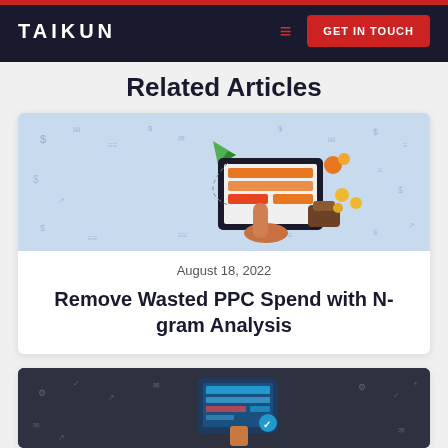TAIKUN | GET IN TOUCH
Related Articles
[Figure (illustration): Illustration of a hand touching a digital tablet/dashboard with financial icons, dollar signs, banknotes, coins, and a wallet on a light blue background]
August 18, 2022
Remove Wasted PPC Spend with N-gram Analysis
[Figure (illustration): Illustration of a digital interface/screen with teal and blue tones on a dark charcoal background with technology icons]